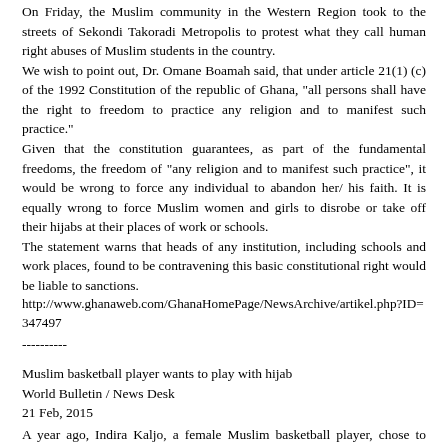On Friday, the Muslim community in the Western Region took to the streets of Sekondi Takoradi Metropolis to protest what they call human right abuses of Muslim students in the country.
We wish to point out, Dr. Omane Boamah said, that under article 21(1) (c) of the 1992 Constitution of the republic of Ghana, "all persons shall have the right to freedom to practice any religion and to manifest such practice."
Given that the constitution guarantees, as part of the fundamental freedoms, the freedom of "any religion and to manifest such practice", it would be wrong to force any individual to abandon her/ his faith. It is equally wrong to force Muslim women and girls to disrobe or take off their hijabs at their places of work or schools.
The statement warns that heads of any institution, including schools and work places, found to be contravening this basic constitutional right would be liable to sanctions.
http://www.ghanaweb.com/GhanaHomePage/NewsArchive/artikel.php?ID=347497
----------
Muslim basketball player wants to play with hijab
World Bulletin / News Desk
21 Feb, 2015
A year ago, Indira Kaljo, a female Muslim basketball player, chose to wear the hijab, the Islamic headdress for women.
She took the decision following an "awakening" during a charity trip to earthquake-hit Haiti.
But the Bosnian-American player quickly realized she would not be able to play professionally in Europe as basketball's governing body had